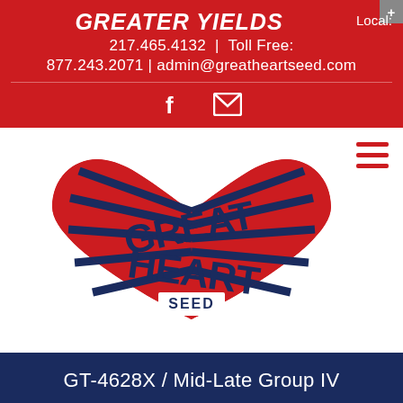GREATER YIELDS
Local: 217.465.4132 | Toll Free: 877.243.2071 | admin@greatheartseed.com
[Figure (logo): Great Heart Seed logo: red heart shape with blue radiating lines and text GREAT HEART SEED]
GT-4628X / Mid-Late Group IV